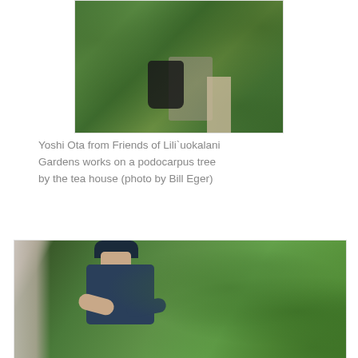[Figure (photo): Person collecting yard waste in a black garbage bag on a stone path surrounded by green plants and foliage in a garden]
Yoshi Ota from Friends of Lili`uokalani Gardens works on a podocarpus tree by the tea house (photo by Bill Eger)
[Figure (photo): Man wearing a dark navy blue shirt and cap trimming or working on shrubs and plants in a lush green garden, viewed from inside a structure]